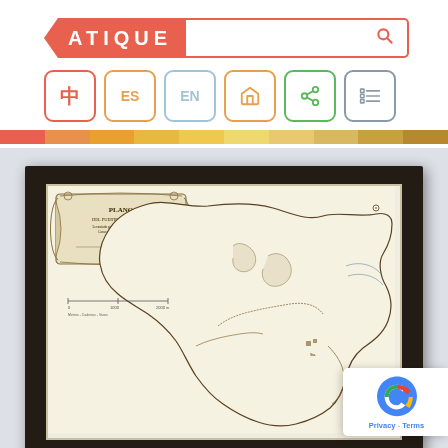ATIQUE — website header with search bar and navigation icons
[Figure (screenshot): Website header showing ATIQUE logo in red banner with search box, six navigation buttons (Chinese character, ES, EN, home, share, menu), and a decorative color stripe bar]
[Figure (photo): Framed antique map titled PLANO in a dark wood frame, showing historical cartographic detail of a coastal or river region with scroll-style title cartouche in upper left]